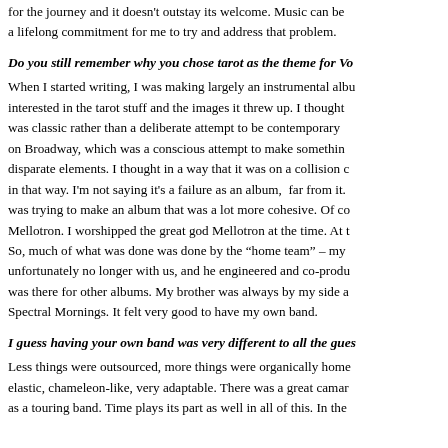for the journey and it doesn't outstay its welcome. Music can be a lifelong commitment for me to try and address that problem.
Do you still remember why you chose tarot as the theme for Vo
When I started writing, I was making largely an instrumental albu interested in the tarot stuff and the images it threw up. I thought was classic rather than a deliberate attempt to be contemporary on Broadway, which was a conscious attempt to make somethin disparate elements. I thought in a way that it was on a collision c in that way. I'm not saying it's a failure as an album, far from it. was trying to make an album that was a lot more cohesive. Of co Mellotron. I worshipped the great god Mellotron at the time. At t So, much of what was done was done by the "home team" – my unfortunately no longer with us, and he engineered and co-produ was there for other albums. My brother was always by my side a Spectral Mornings. It felt very good to have my own band.
I guess having your own band was very different to all the gues
Less things were outsourced, more things were organically home elastic, chameleon-like, very adaptable. There was a great camar as a touring band. Time plays its part as well in all of this. In the